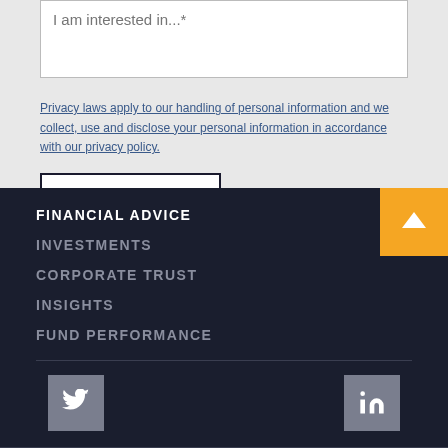I am interested in...*
Privacy laws apply to our handling of personal information and we collect, use and disclose your personal information in accordance with our privacy policy.
SUBMIT
FINANCIAL ADVICE
INVESTMENTS
CORPORATE TRUST
INSIGHTS
FUND PERFORMANCE
[Figure (illustration): Twitter social media icon (bird) in a grey square button]
[Figure (illustration): LinkedIn social media icon (in) in a grey square button]